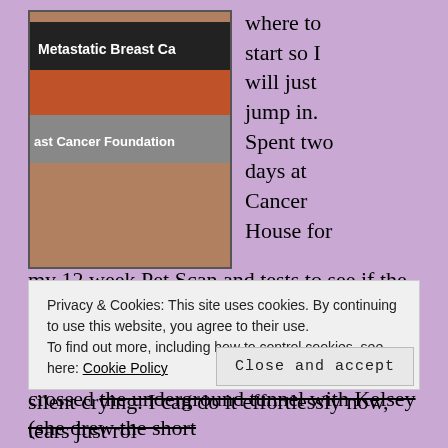[Figure (photo): A wrist wearing stacked awareness bracelets: one black reading 'Metastatic Breast Ca...', one orange/red, one gray reading '...ast Cancer Foundation']
where to start so I will just jump in. Spent two days at Cancer House for my 12 week Pet Scan and tests to see if the chemotherapy is working or not. Finally mastered those damn elevators and that way below sea level parking lot and even crossed the underground tunnel with Kelsey (she drew the short
Privacy & Cookies: This site uses cookies. By continuing to use this website, you agree to their use.
To find out more, including how to control cookies, see here: Cookie Policy
Close and accept
silent crying. I can do it effortlessly now, tears just rol